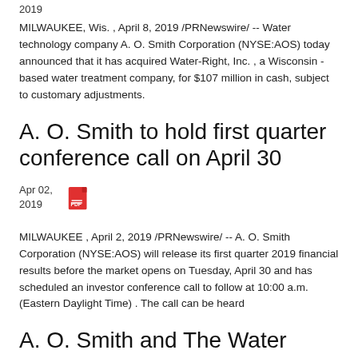2019
MILWAUKEE, Wis. , April 8, 2019 /PRNewswire/ -- Water technology company A. O. Smith Corporation (NYSE:AOS) today announced that it has acquired Water-Right, Inc. , a Wisconsin -based water treatment company, for $107 million in cash, subject to customary adjustments.
A. O. Smith to hold first quarter conference call on April 30
Apr 02, 2019
MILWAUKEE , April 2, 2019 /PRNewswire/ --  A. O. Smith Corporation (NYSE:AOS) will release its first quarter 2019 financial results before the market opens on Tuesday, April 30 and has scheduled an investor conference call to follow at 10:00 a.m. (Eastern Daylight Time) .  The call can be heard
A. O. Smith and The Water Council announce BREW Corporate freshwater technology challenge winner